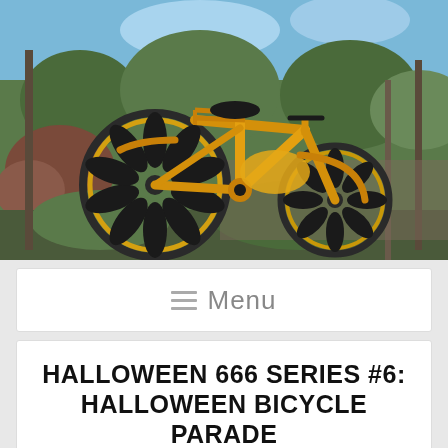[Figure (photo): Yellow vintage bicycle sculpture/art installation with dark pinwheel-style wheel decorations, set among trees and garden plants outdoors]
☰ Menu
HALLOWEEN 666 SERIES #6: HALLOWEEN BICYCLE PARADE